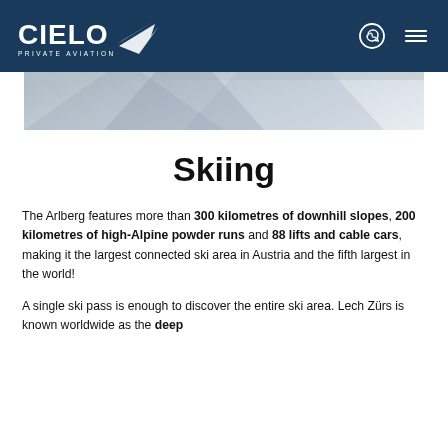CIELO PRIVATE AVIATION
[Figure (photo): Partially visible hero/banner photo of a snowy mountain ski scene, shown beneath the navigation header]
Skiing
The Arlberg features more than 300 kilometres of downhill slopes, 200 kilometres of high-Alpine powder runs and 88 lifts and cable cars, making it the largest connected ski area in Austria and the fifth largest in the world!
A single ski pass is enough to discover the entire ski area. Lech Zürs is known worldwide as the deep